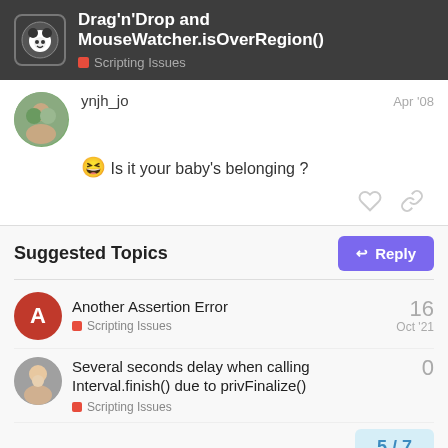Drag'n'Drop and MouseWatcher.isOverRegion() — Scripting Issues
ynjh_jo — Apr '08
😆 Is it your baby's belonging ?
Suggested Topics
Another Assertion Error — Scripting Issues — 16 — Oct '21
Several seconds delay when calling Interval.finish() due to privFinalize() — Scripting Issues — 0
5 / 7